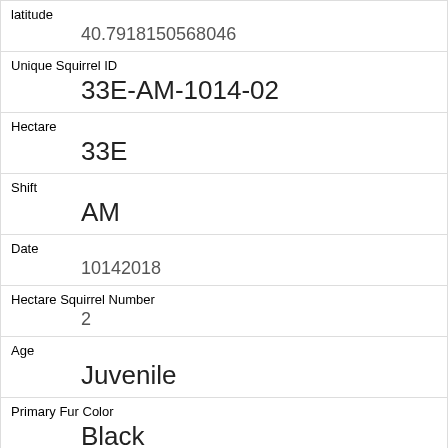| Field | Value |
| --- | --- |
| latitude | 40.79181505680046 |
| Unique Squirrel ID | 33E-AM-1014-02 |
| Hectare | 33E |
| Shift | AM |
| Date | 10142018 |
| Hectare Squirrel Number | 2 |
| Age | Juvenile |
| Primary Fur Color | Black |
| Highlight Fur Color |  |
| Combination of Primary and Highlight Color | Black+ |
| Color notes |  |